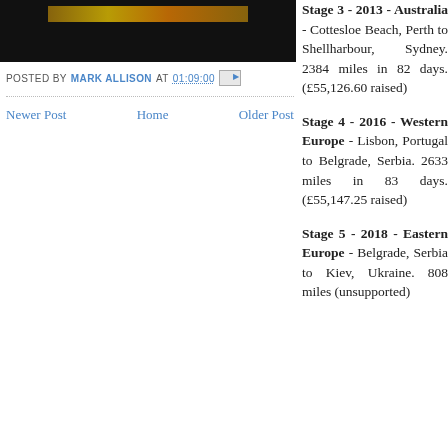[Figure (photo): Dark/black background image with a golden/orange horizontal bar or banner near the top]
POSTED BY MARK ALLISON AT 01:09:00
Newer Post   Home   Older Post
Stage 3 - 2013 - Australia - Cottesloe Beach, Perth to Shellharbour, Sydney. 2384 miles in 82 days. (£55,126.60 raised)
Stage 4 - 2016 - Western Europe - Lisbon, Portugal to Belgrade, Serbia. 2633 miles in 83 days. (£55,147.25 raised)
Stage 5 - 2018 - Eastern Europe - Belgrade, Serbia to Kiev, Ukraine. 808 miles (unsupported)